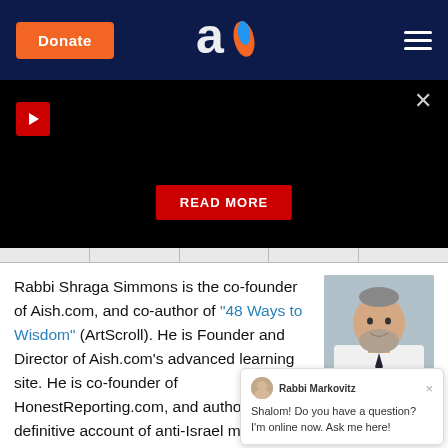Donate | Aish.com logo | Menu
[Figure (screenshot): Dark video/banner area with red play button top-left, close X top-right, and a red READ MORE button centered near bottom]
Rabbi Shraga Simmons is the co-founder of Aish.com, and co-author of "48 Ways to Wisdom" (ArtScroll). He is Founder and Director of Aish.com's advanced learning site. He is co-founder of HonestReporting.com, and author of "David & Goliath", the definitive account of anti-Israel media bias. Originally from B... he holds a degree in journalism fro...
[Figure (photo): Headshot photo of Rabbi Shraga Simmons, a middle-aged man with a beard wearing a white shirt]
Shalom! Do you have a question? I'm online now. Ask me here!